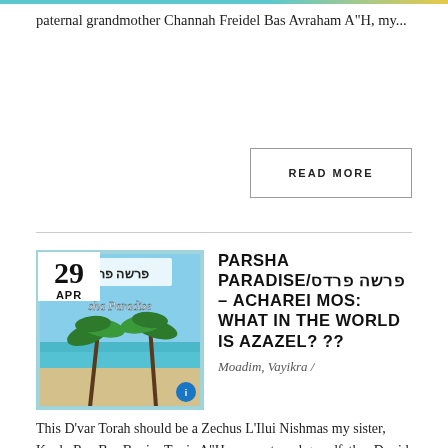paternal grandmother Channah Freidel Bas Avraham A"H, my...
READ MORE
[Figure (photo): Beach scene with palm trees and blue sky, with Hebrew text 'פרשה פרדס' overlaid, date badge showing 29 APR]
PARSHA PARADISE/פרשה פרדס – ACHAREI MOS: WHAT IN THE WORLD IS AZAZEL? ??
Moadim, Vayikra /
This D'var Torah should be a Zechus L'Ilui Nishmas my sister, Kayla Rus Bas Bunim Tuvia A"H, my maternal grandfather Dovid Tzvi Ben Yosef Yochanan A"H, my maternal grandfather Dovid Tzvi Ben Yosef Yochanan